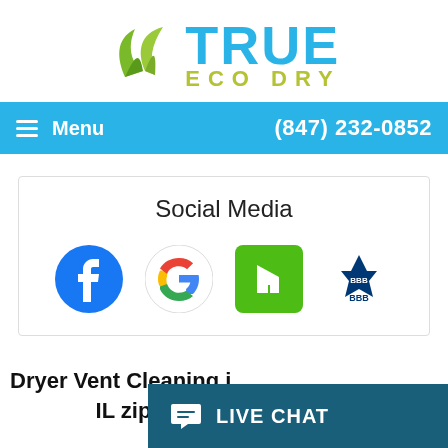[Figure (logo): True Eco Dry logo with two green leaves and blue 'TRUE' text with olive 'ECO DRY' subtitle]
Menu   (847) 232-0852
Social Media
[Figure (illustration): Four social media icons: Facebook (blue circle with f), Google (colorful G), Houzz (green square with h), BBB (Better Business Bureau logo)]
Dryer Vent Cleaning i... IL zip c...
[Figure (other): Live Chat button overlay at bottom right]